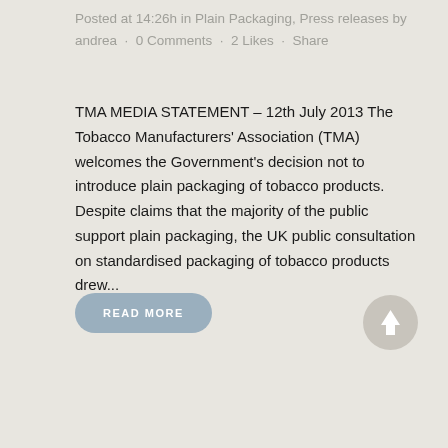Posted at 14:26h in Plain Packaging, Press releases by andrea · 0 Comments · 2 Likes · Share
TMA MEDIA STATEMENT – 12th July 2013 The Tobacco Manufacturers' Association (TMA) welcomes the Government's decision not to introduce plain packaging of tobacco products. Despite claims that the majority of the public support plain packaging, the UK public consultation on standardised packaging of tobacco products drew...
READ MORE